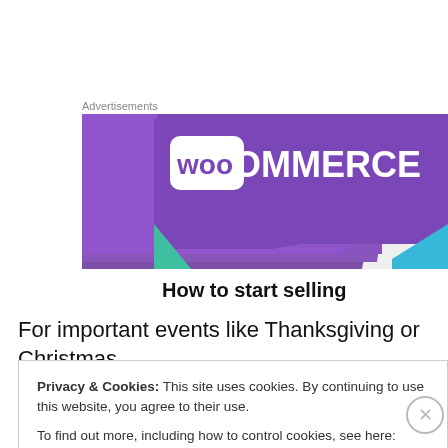Advertisements
[Figure (illustration): WooCommerce advertisement banner showing the WooCommerce logo on a purple background with teal and cyan triangle accents, and text 'How to start selling' at the bottom.]
For important events like Thanksgiving or Christmas,
Privacy & Cookies: This site uses cookies. By continuing to use this website, you agree to their use.
To find out more, including how to control cookies, see here: Cookie Policy
Close and accept